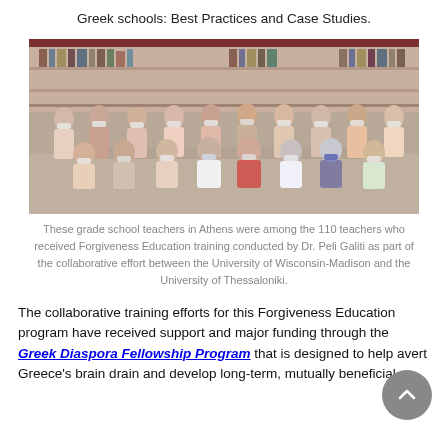Greek schools: Best Practices and Case Studies.
[Figure (photo): Group photo of grade school teachers in Athens wearing face masks, seated and standing in rows in a library setting.]
These grade school teachers in Athens were among the 110 teachers who received Forgiveness Education training conducted by Dr. Peli Galiti as part of the collaborative effort between the University of Wisconsin-Madison and the University of Thessaloniki.
The collaborative training efforts for this Forgiveness Education program have received support and major funding through the Greek Diaspora Fellowship Program that is designed to help avert Greece's brain drain and develop long-term, mutually beneficial